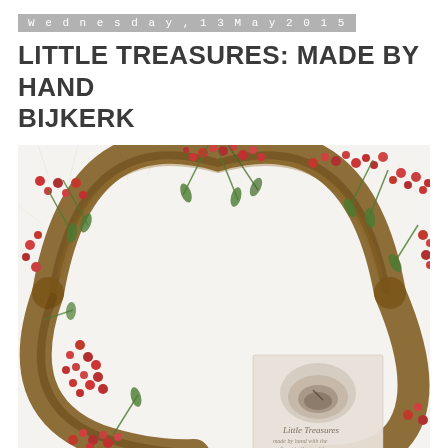Wednesday, 13 May 2015
LITTLE TREASURES: MADE BY HAND BIJKERK
[Figure (photo): A grapevine wreath decorated with red berries and green sprigs, photographed from above on a white furry background. A small book with a bird's nest image on its cover is visible inside the wreath. The book cover text reads 'Little Treasures' with cursive script below.]